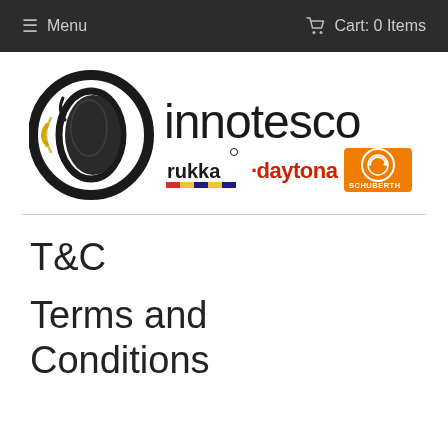☰ Menu   🛒 Cart: 0 Items
[Figure (logo): Innotesco logo with circular tire graphic and brand logos: rukka, daytona, schuberth]
T&C
Terms and Conditions